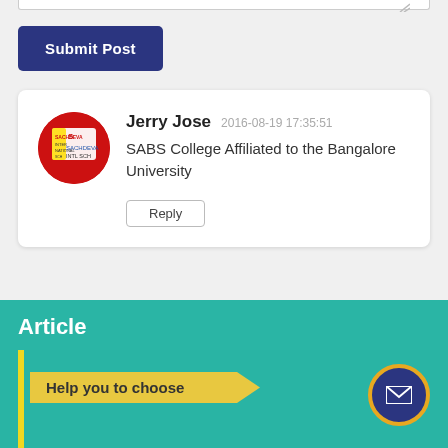[Figure (screenshot): Top edge of a textarea input field with resize handle visible]
Submit Post
Jerry Jose   2016-08-19 17:35:51
SABS College Affiliated to the Bangalore University
Reply
Article
Help you to choose